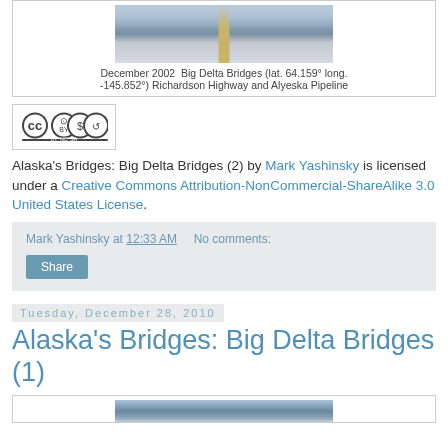[Figure (photo): Winter road scene, snowy trees, winding highway, Big Delta Bridges area]
December 2002  Big Delta Bridges (lat. 64.159° long. -145.852°) Richardson Highway and Alyeska Pipeline
[Figure (logo): Creative Commons BY-NC-SA license logo]
Alaska's Bridges: Big Delta Bridges (2) by Mark Yashinsky is licensed under a Creative Commons Attribution-NonCommercial-ShareAlike 3.0 United States License.
Mark Yashinsky at 12:33 AM    No comments:
Share
Tuesday, December 28, 2010
Alaska's Bridges: Big Delta Bridges (1)
[Figure (photo): Partial view of another bridge/road photo at Big Delta]